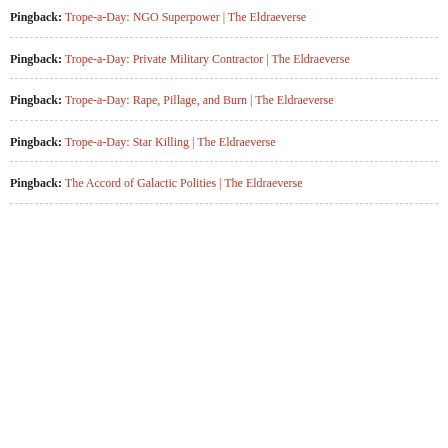Pingback: Trope-a-Day: NGO Superpower | The Eldraeverse
Pingback: Trope-a-Day: Private Military Contractor | The Eldraeverse
Pingback: Trope-a-Day: Rape, Pillage, and Burn | The Eldraeverse
Pingback: Trope-a-Day: Star Killing | The Eldraeverse
Pingback: The Accord of Galactic Polities | The Eldraeverse